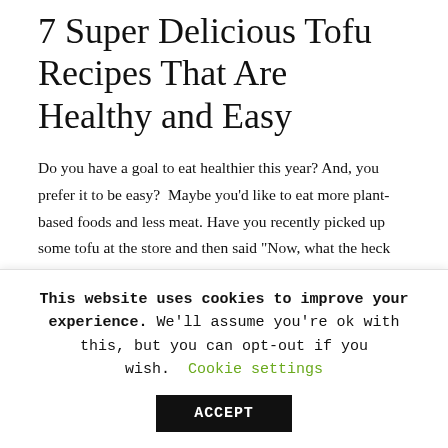7 Super Delicious Tofu Recipes That Are Healthy and Easy
Do you have a goal to eat healthier this year? And, you prefer it to be easy?  Maybe you'd like to eat more plant-based foods and less meat. Have you recently picked up some tofu at the store and then said "Now, what the heck can I make with this?" Yay, let's do it!  Tofu can be intimidating if you've never made anything with it.
This website uses cookies to improve your experience. We'll assume you're ok with this, but you can opt-out if you wish. Cookie settings ACCEPT